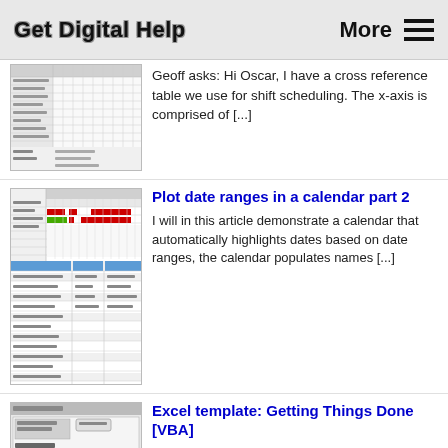Get Digital Help  More ☰
Geoff asks: Hi Oscar, I have a cross reference table we use for shift scheduling. The x-axis is comprised of [...]
Plot date ranges in a calendar part 2
I will in this article demonstrate a calendar that automatically highlights dates based on date ranges, the calendar populates names [...]
Excel template: Getting Things Done [VBA]
In this article, I am going to demonstrate a simple workbook where you can create or delete projects and add [...]